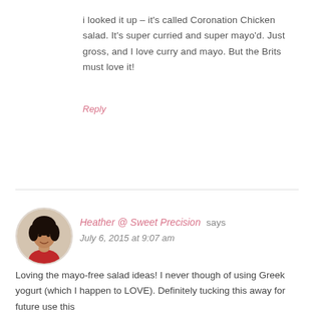i looked it up – it's called Coronation Chicken salad. It's super curried and super mayo'd. Just gross, and I love curry and mayo. But the Brits must love it!
Reply
[Figure (photo): Circular avatar photo of Heather @ Sweet Precision, a woman with short curly dark hair wearing a red top]
Heather @ Sweet Precision says
July 6, 2015 at 9:07 am
Loving the mayo-free salad ideas! I never though of using Greek yogurt (which I happen to LOVE). Definitely tucking this away for future use this